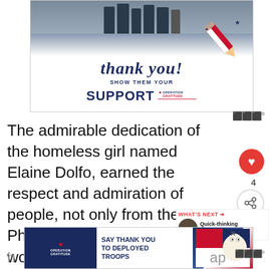[Figure (photo): Operation Gratitude advertisement showing 'thank you! SHOW THEM YOUR SUPPORT' with a pencil illustration and Operation Gratitude logo, over a photo of firefighters/first responders with donation boxes]
The admirable dedication of the homeless girl named Elaine Dolfo, earned the respect and admiration of people, not only from the Philippines but all over the world as well. She was spotted eagerly doing her
[Figure (photo): Operation Gratitude advertisement: 'SAY THANK YOU TO DEPLOYED TROOPS' with logo and eagle illustration]
[Figure (photo): WHAT'S NEXT panel with thumbnail: Quick-thinking 9-year-old gi...]